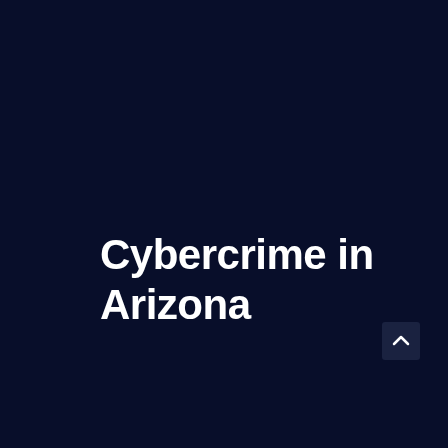Cybercrime in Arizona
[Figure (other): Scroll-to-top button icon with upward chevron arrow on dark navy background, positioned at bottom-right corner]